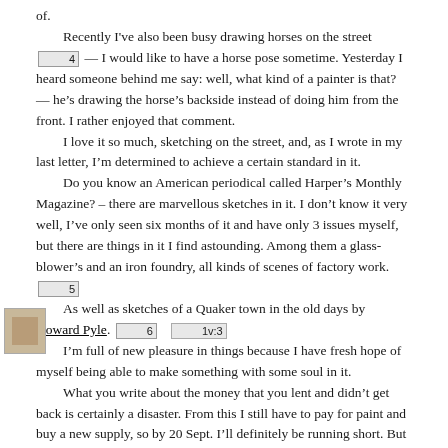of.
    Recently I've also been busy drawing horses on the street [4] — I would like to have a horse pose sometime. Yesterday I heard someone behind me say: well, what kind of a painter is that? — he's drawing the horse's backside instead of doing him from the front. I rather enjoyed that comment.
    I love it so much, sketching on the street, and, as I wrote in my last letter, I'm determined to achieve a certain standard in it.
    Do you know an American periodical called Harper's Monthly Magazine? – there are marvellous sketches in it. I don't know it very well, I've only seen six months of it and have only 3 issues myself, but there are things in it I find astounding. Among them a glass-blower's and an iron foundry, all kinds of scenes of factory work. [5]
    As well as sketches of a Quaker town in the old days by Howard Pyle. [6]  [1v:3]
    I'm full of new pleasure in things because I have fresh hope of myself being able to make something with some soul in it.
    What you write about the money that you lent and didn't get back is certainly a disaster. From this I still have to pay for paint and buy a new supply, so by 20 Sept. I'll definitely be running short. But I'll vary the work a little and manage to get by. But remember that something extra will of course help me make extra progress — more
[Figure (illustration): Small thumbnail image of what appears to be a book or document page, brownish/sepia toned, positioned on the left margin.]